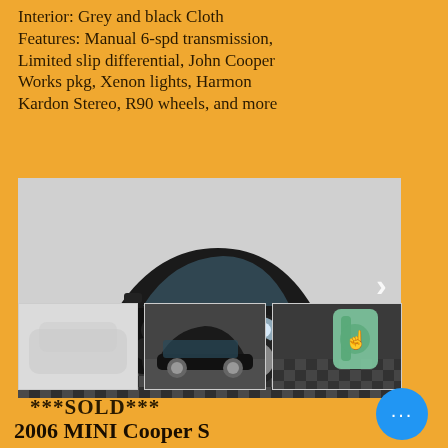Interior: Grey and black Cloth Features: Manual 6-spd transmission, Limited slip differential, John Cooper Works pkg, Xenon lights, Harmon Kardon Stereo, R90 wheels, and more
[Figure (photo): Main photo of a black 2006 MINI Cooper S in a showroom with checkered floor, front 3/4 view, with a right-arrow navigation button]
[Figure (photo): Thumbnail photo 1: rear/side view of the black MINI Cooper S, greyed out]
[Figure (photo): Thumbnail photo 2: side profile of the black MINI Cooper S]
[Figure (photo): Thumbnail photo 3: close-up of dealership foam finger/logo sign]
***SOLD***
2006 MINI Cooper S